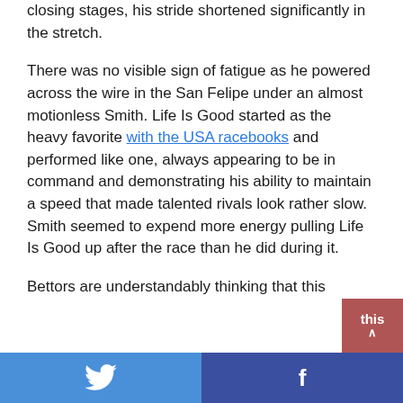closing stages, his stride shortened significantly in the stretch.
There was no visible sign of fatigue as he powered across the wire in the San Felipe under an almost motionless Smith. Life Is Good started as the heavy favorite with the USA racebooks and performed like one, always appearing to be in command and demonstrating his ability to maintain a speed that made talented rivals look rather slow. Smith seemed to expend more energy pulling Life Is Good up after the race than he did during it.
Bettors are understandably thinking that this